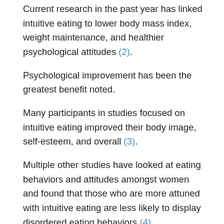Current research in the past year has linked intuitive eating to lower body mass index, weight maintenance, and healthier psychological attitudes (2).
Psychological improvement has been the greatest benefit noted.
Many participants in studies focused on intuitive eating improved their body image, self-esteem, and overall (3).
Multiple other studies have looked at eating behaviors and attitudes amongst women and found that those who are more attuned with intuitive eating are less likely to display disordered eating behaviors (4).
Summary